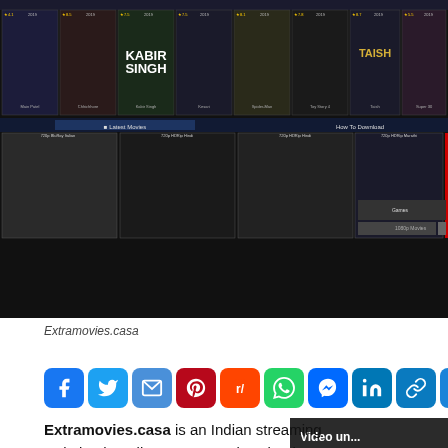[Figure (screenshot): Screenshot of Extramovies.casa website showing movie thumbnails, navigation bar with Latest Movies and How To Download sections, and a How to Download promotional banner]
Extramovies.casa
[Figure (infographic): Row of social media sharing icons: Facebook, Twitter, Email, Pinterest, Reddit, WhatsApp, Messenger, LinkedIn, Copy Link, and More (+)]
[Figure (screenshot): Dark box showing 'Video un...' message about video copyright from Bros. Entertainment]
Extramovies.casa is an Indian streaming website that allows users to download